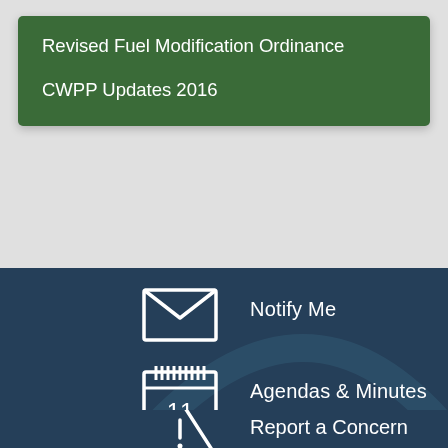Revised Fuel Modification Ordinance
CWPP Updates 2016
[Figure (infographic): Envelope icon with text 'Notify Me']
Notify Me
[Figure (infographic): Calendar icon showing '11' with text 'Agendas & Minutes']
Agendas & Minutes
[Figure (infographic): Warning triangle icon with text 'Report a Concern' (partially visible)]
Report a Concern